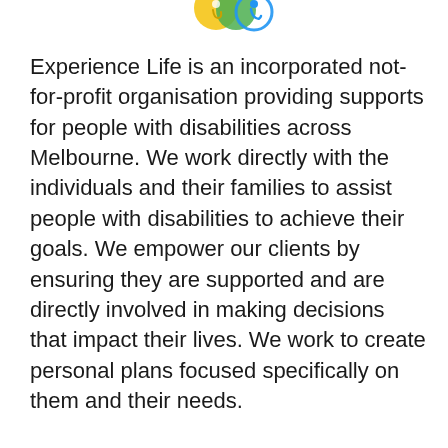[Figure (illustration): Partial logo/illustration at top of page showing colorful disability-themed icons (wheelchair user and circular design elements in yellow, green, blue)]
Experience Life is an incorporated not-for-profit organisation providing supports for people with disabilities across Melbourne. We work directly with the individuals and their families to assist people with disabilities to achieve their goals. We empower our clients by ensuring they are supported and are directly involved in making decisions that impact their lives. We work to create personal plans focused specifically on them and their needs.